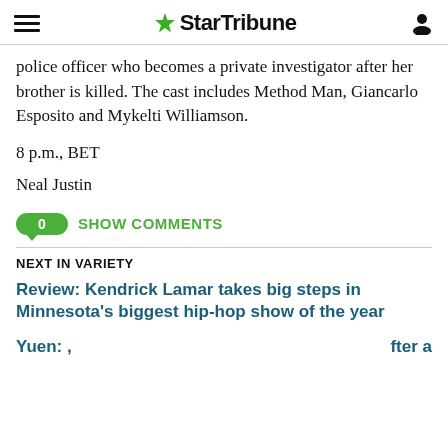StarTribune
police officer who becomes a private investigator after her brother is killed. The cast includes Method Man, Giancarlo Esposito and Mykelti Williamson.
8 p.m., BET
Neal Justin
0 SHOW COMMENTS
NEXT IN VARIETY
Review: Kendrick Lamar takes big steps in Minnesota's biggest hip-hop show of the year
Yuen: … fter a